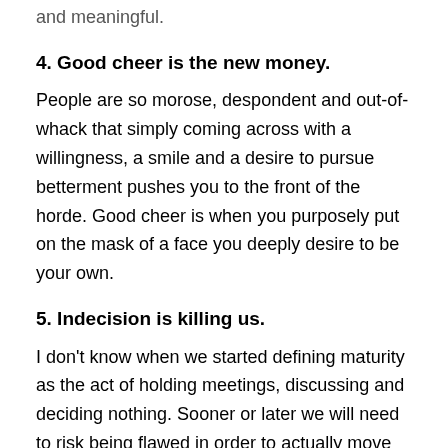and meaningful.
4. Good cheer is the new money.
People are so morose, despondent and out-of-whack that simply coming across with a willingness, a smile and a desire to pursue betterment pushes you to the front of the horde. Good cheer is when you purposely put on the mask of a face you deeply desire to be your own.
5. Indecision is killing us.
I don't know when we started defining maturity as the act of holding meetings, discussing and deciding nothing. Sooner or later we will need to risk being flawed in order to actually move forward and discover improvement.
6. And the final thing I will tell my family that I learned this year in my journey across this United States is freedom